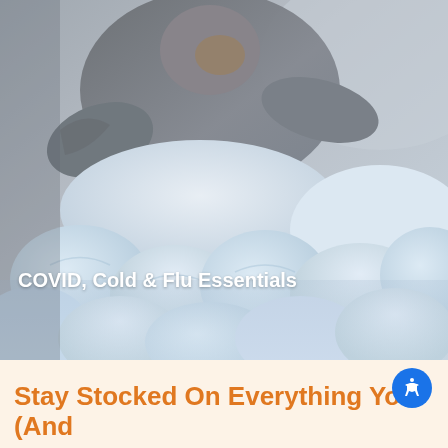[Figure (photo): A person bundled in a grey hoodie lying in bed surrounded by white/light blue chunky knit blankets, holding their head with both hands, appearing ill.]
COVID, Cold & Flu Essentials
Stay Stocked On Everything You (And